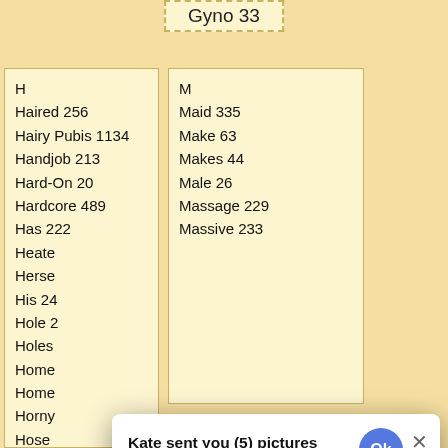Gyno 33
H
Haired 256
Hairy Pubis 1134
Handjob 213
Hard-On 20
Hardcore 489
Has 222
Heate
Herse
His 24
Hole 2
Holes
Home
Home
Horny
Hose
Hosie
Hot 18
Hotti 3
Hottie 1356
M
Maid 335
Make 63
Makes 44
Male 26
Massage 229
Massive 233
Mommy 141
[Figure (screenshot): A dialog popup overlay on top of the page content. Title: 'Kate sent you (5) pictures'. Subtitle: 'Click OK to display the photo'. A small blue circular Ok button in top-right of header. A large blue circular Ok button in center of dialog body. Close (X) button in top-right corner. '2sd' text in bottom-right footer.]